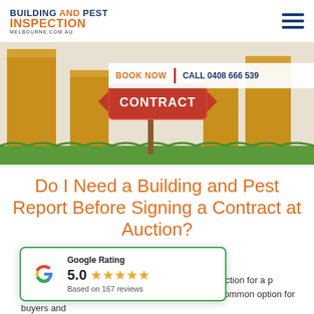[Figure (logo): Building and Pest Inspection Melbourne.com.au logo in blue and orange]
[Figure (illustration): Illustrated scene with golden pillars, a red CONTRACT sign on a post, and green grass]
BOOK NOW  |  CALL 0408 666 539
Do I Need a Building and Pest Report Before Signing a Contract at Auction?
[Figure (infographic): Google Rating widget showing 5.0 stars based on 167 reviews]
and Pest inspection for a p... ook it prior to signing the contract. This is a common option for buyers and